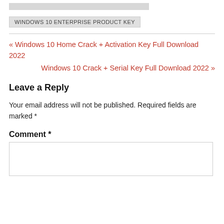[Figure (screenshot): Gray bar image at top of page]
WINDOWS 10 ENTERPRISE PRODUCT KEY
« Windows 10 Home Crack + Activation Key Full Download 2022
Windows 10 Crack + Serial Key Full Download 2022 »
Leave a Reply
Your email address will not be published. Required fields are marked *
Comment *
[Figure (screenshot): Empty comment text area input box]